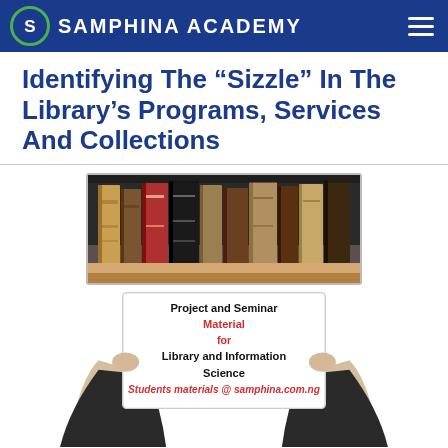SAMPHINA ACADEMY
Identifying The “Sizzle” In The Library’s Programs, Services And Collections
[Figure (photo): A person in a suit holding up a sign with a shelf of old books above. The sign reads: Project and Seminar Material for Library and Information Science Students materials @ samphina.com.ng]